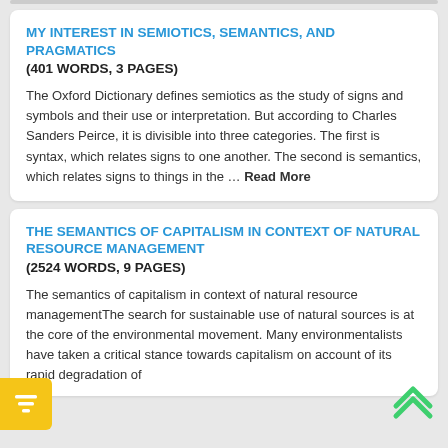MY INTEREST IN SEMIOTICS, SEMANTICS, AND PRAGMATICS
(401 WORDS, 3 PAGES)
The Oxford Dictionary defines semiotics as the study of signs and symbols and their use or interpretation. But according to Charles Sanders Peirce, it is divisible into three categories. The first is syntax, which relates signs to one another. The second is semantics, which relates signs to things in the … Read More
THE SEMANTICS OF CAPITALISM IN CONTEXT OF NATURAL RESOURCE MANAGEMENT
(2524 WORDS, 9 PAGES)
The semantics of capitalism in context of natural resource managementThe search for sustainable use of natural sources is at the core of the environmental movement. Many environmentalists have taken a critical stance towards capitalism on account of its rapid degradation of